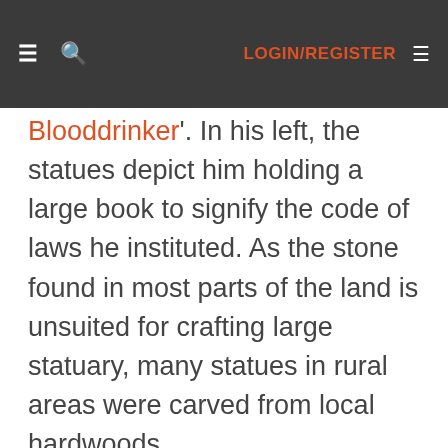≡ 🔍  LOGIN/REGISTER ≡
Blooddrinker'. In his left, the statues depict him holding a large book to signify the code of laws he instituted. As the stone found in most parts of the land is unsuited for crafting large statuary, many statues in rural areas were carved from local hardwoods.
Test of the Warlord
The elderly druid continued his tale. 'Soon after that, I was warned that the Empire planned another invasion into our lands. Knowing that we would need a warlord to unite all the clans' war bands, I sent